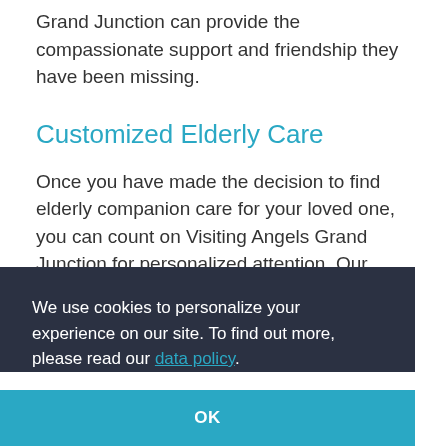Grand Junction can provide the compassionate support and friendship they have been missing.
Customized Elderly Care
Once you have made the decision to find elderly companion care for your loved one, you can count on Visiting Angels Grand Junction for personalized attention. Our services are...
We use cookies to personalize your experience on our site. To find out more, please read our data policy.
OK
...Grand Junction... such